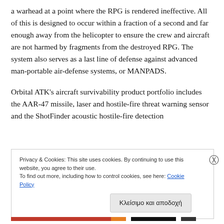a warhead at a point where the RPG is rendered ineffective. All of this is designed to occur within a fraction of a second and far enough away from the helicopter to ensure the crew and aircraft are not harmed by fragments from the destroyed RPG. The system also serves as a last line of defense against advanced man-portable air-defense systems, or MANPADS.
Orbital ATK’s aircraft survivability product portfolio includes the AAR-47 missile, laser and hostile-fire threat warning sensor and the ShotFinder acoustic hostile-fire detection
Privacy & Cookies: This site uses cookies. By continuing to use this website, you agree to their use.
To find out more, including how to control cookies, see here: Cookie Policy